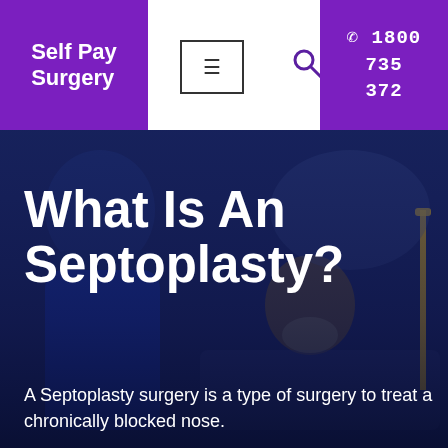Self Pay Surgery
☎ 1800 735 372
[Figure (photo): A doctor in scrubs speaking to a male patient lying in a hospital bed wearing an oxygen mask. Dark blue-tinted scene in a clinical setting.]
What Is An Septoplasty?
A Septoplasty surgery is a type of surgery to treat a chronically blocked nose.